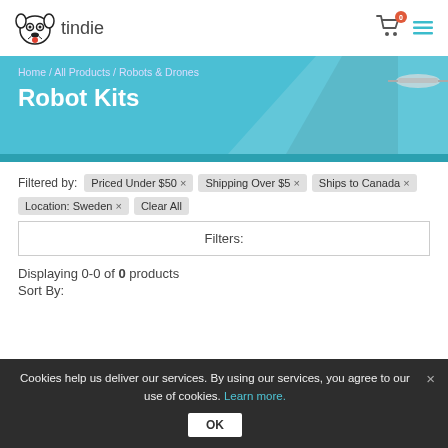tindie
[Figure (logo): Tindie dog mascot logo with text 'tindie']
Home / All Products / Robots & Drones
Robot Kits
Filtered by: Priced Under $50 × Shipping Over $5 × Ships to Canada × Location: Sweden × Clear All
Filters:
Displaying 0-0 of 0 products
Sort By:
Cookies help us deliver our services. By using our services, you agree to our use of cookies. Learn more. OK